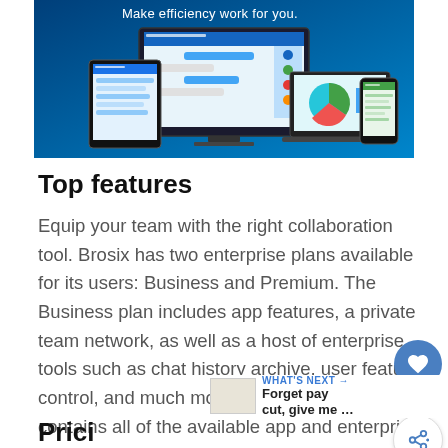[Figure (screenshot): Hero image showing multiple devices (desktop monitor, tablet, laptop, smartphone) displaying the Brosix collaboration app interface on a blue gradient background, with the text 'Make efficiency work for you.' at the top.]
Top features
Equip your team with the right collaboration tool. Brosix has two enterprise plans available for its users: Business and Premium. The Business plan includes app features, a private team network, as well as a host of enterprise tools such as chat history archive, user feature control, and much more. The Premium plan contains all of the available app and enterprise features plus advanced control options for more focused, secure team communication and collaboration.
Pricing